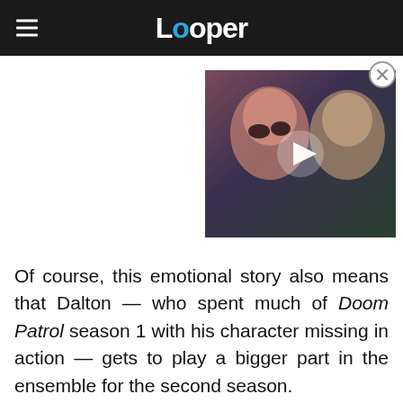Looper
[Figure (screenshot): Video thumbnail showing two faces — a woman with dramatic makeup and a man — with a play button overlay]
Of course, this emotional story also means that Dalton — who spent much of Doom Patrol season 1 with his character missing in action — gets to play a bigger part in the ensemble for the second season.